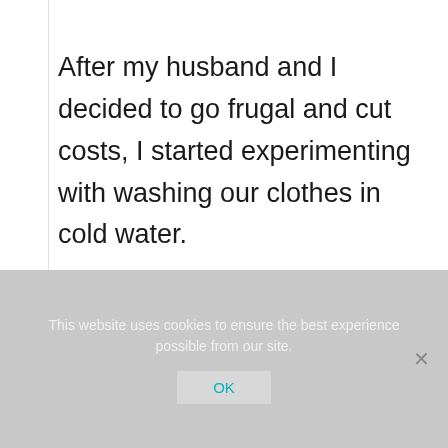After my husband and I decided to go frugal and cut costs, I started experimenting with washing our clothes in cold water.
I started with casual clothes that didn't get that dirty, and after realizing that they came out just as clean as if I were to wash them in hot water, I decided to
This website uses cookies to ensure the best experience possible from our site.